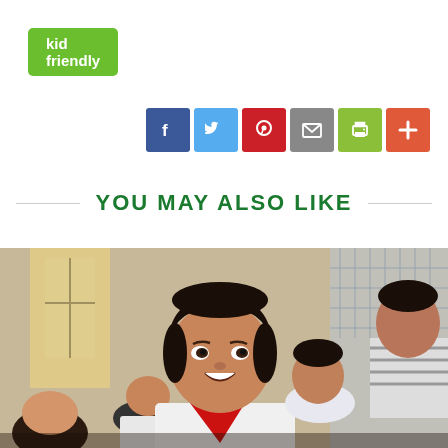kid friendly
[Figure (infographic): Social sharing buttons: Facebook (blue), Twitter (light blue), Pinterest (red), Email (gray), Print (green), Plus/More (orange-red)]
YOU MAY ALSO LIKE
[Figure (photo): A smiling Vietnamese girl in a school classroom looking up, surrounded by other children in school uniforms with red scarves. Classroom setting with windows.]